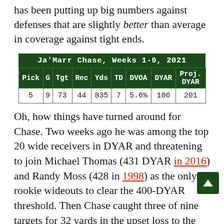has been putting up big numbers against defenses that are slightly better than average in coverage against tight ends.
| Pick | G | Tgt | Rec | Yds | TD | DVOA | DYAR | Proj. DYAR |
| --- | --- | --- | --- | --- | --- | --- | --- | --- |
| 5 | 9 | 73 | 44 | 835 | 7 | 5.6% | 106 | 201 |
Oh, how things have turned around for Chase. Two weeks ago he was among the top 20 wide receivers in DYAR and threatening to join Michael Thomas (431 DYAR in 2016) and Randy Moss (428 in 1998) as the only rookie wideouts to clear the 400-DYAR threshold. Then Chase caught three of nine targets for 32 yards in the upset loss to the Jets, followed by a six-of-13-for-49-yard performance in a blowout against the Browns. That drops Chase all the way down to … 22nd among wide receivers in DYAR and still first by a wide margin among rookies. He's